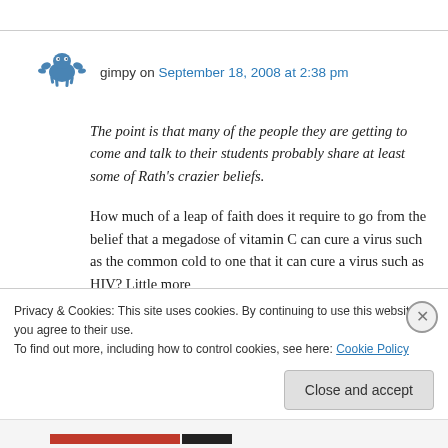gimpy on September 18, 2008 at 2:38 pm
The point is that many of the people they are getting to come and talk to their students probably share at least some of Rath's crazier beliefs.
How much of a leap of faith does it require to go from the belief that a megadose of vitamin C can cure a virus such as the common cold to one that it can cure a virus such as HIV? Little more
Privacy & Cookies: This site uses cookies. By continuing to use this website, you agree to their use.
To find out more, including how to control cookies, see here: Cookie Policy